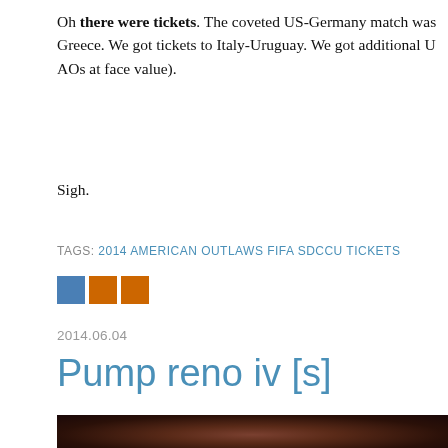Oh there were tickets. The coveted US-Germany match was Greece. We got tickets to Italy-Uruguay. We got additional U AOs at face value).
Sigh.
TAGS: 2014 AMERICAN OUTLAWS FIFA SDCCU TICKETS
[Figure (other): Social sharing icons: two blue squares and one orange square]
2014.06.04
Pump reno iv [s]
[Figure (photo): Dark brownish-red close-up photo, appears to show a textured surface with dark tones]